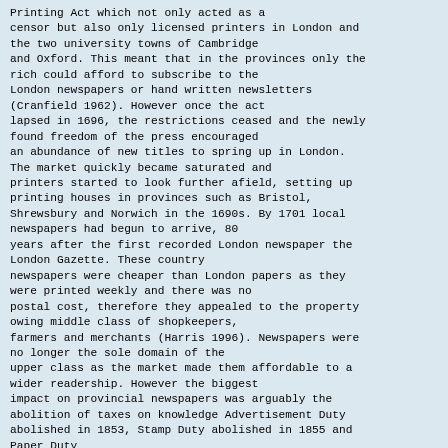Printing Act which not only acted as a censor but also only licensed printers in London and the two university towns of Cambridge and Oxford. This meant that in the provinces only the rich could afford to subscribe to the London newspapers or hand written newsletters (Cranfield 1962). However once the act lapsed in 1696, the restrictions ceased and the newly found freedom of the press encouraged an abundance of new titles to spring up in London. The market quickly became saturated and printers started to look further afield, setting up printing houses in provinces such as Bristol, Shrewsbury and Norwich in the 1690s. By 1701 local newspapers had begun to arrive, 80 years after the first recorded London newspaper the London Gazette. These country newspapers were cheaper than London papers as they were printed weekly and there was no postal cost, therefore they appealed to the property owing middle class of shopkeepers, farmers and merchants (Harris 1996). Newspapers were no longer the sole domain of the upper class as the market made them affordable to a wider readership. However the biggest impact on provincial newspapers was arguably the abolition of taxes on knowledge Advertisement Duty abolished in 1853, Stamp Duty abolished in 1855 and Paper Duty abolished in 1861 - following a campaign for a free market press by the reconstituted Peoples' Charter Union in 1848 (Curran 1978). This dramatic change gave newspapers